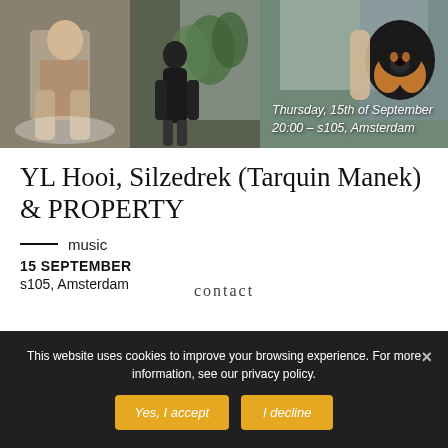[Figure (photo): Three-panel photo strip showing: left panel - a person sitting, middle panel - a figure near plants by a window, right panel - a black and tan dog with a person]
Thursday, 15th of September
20:00 – s105, Amsterdam
YL Hooi, Silzedrek (Tarquin Manek) & PROPERTY
— music
15 SEPTEMBER
s105, Amsterdam
This website uses cookies to improve your browsing experience. For more information, see our privacy policy.
Yes, I accept
I decline